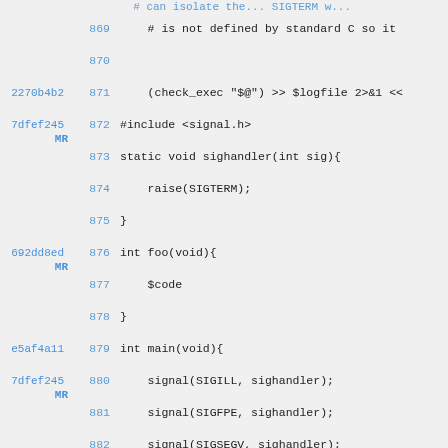869   # is not defined by standard C so it
870
2270b4b2 871       (check_exec "$@") >> $logfile 2>&1 <<
7dfef245 MR 872   #include <signal.h>
873   static void sighandler(int sig){
874       raise(SIGTERM);
875   }
692dd8ed MR 876   int foo(void){
877       $code
878   }
e5af4a11 879   int main(void){
7dfef245 MR 880       signal(SIGILL, sighandler);
881       signal(SIGFPE, sighandler);
882       signal(SIGSEGV, sighandler);
883   #ifdef SIGBUS